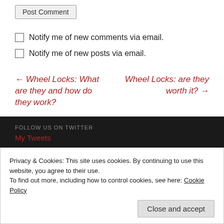Post Comment
Notify me of new comments via email.
Notify me of new posts via email.
← Wheel Locks: What are they and how do they work?
Wheel Locks: are they worth it? →
FOLLOW US ON TWITTER
My Tweets
Privacy & Cookies: This site uses cookies. By continuing to use this website, you agree to their use.
To find out more, including how to control cookies, see here: Cookie Policy
Close and accept